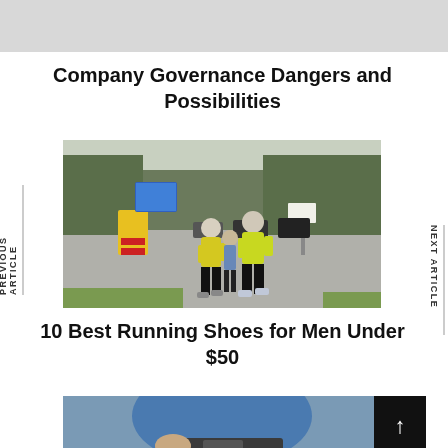[Figure (photo): Gray banner at top of page]
Company Governance Dangers and Possibilities
[Figure (photo): Outdoor photo of two runners in yellow jackets jogging on a road with trees and a blue sign in the background]
10 Best Running Shoes for Men Under $50
[Figure (photo): Partial photo of a runner in blue shirt, cropped at bottom of page]
[Figure (photo): Black box with white upward arrow on right side at bottom]